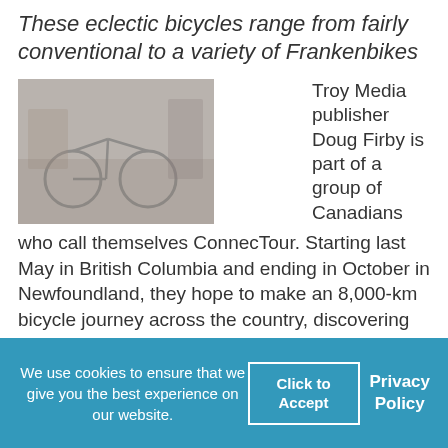These eclectic bicycles range from fairly conventional to a variety of Frankenbikes
[Figure (photo): Photo of bicycles in what appears to be a workshop or storage area, with people visible among the bikes]
Troy Media publisher Doug Firby is part of a group of Canadians who call themselves ConnecTour. Starting last May in British Columbia and ending in October in Newfoundland, they hope to make an 8,000-km bicycle journey across the country, discovering how
We use cookies to ensure that we give you the best experience on our website.
Click to Accept
Privacy Policy